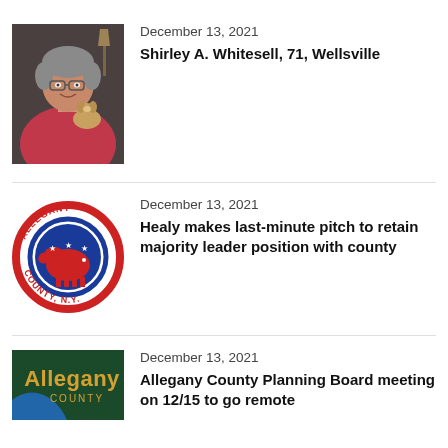[Figure (photo): Photo of Shirley A. Whitesell, a woman in a red top holding a small puppy, indoors with a lamp in background]
December 13, 2021
Shirley A. Whitesell, 71, Wellsville
[Figure (logo): Allegany County Republican Party circular logo with red elephant and stars]
December 13, 2021
Healy makes last-minute pitch to retain majority leader position with county
[Figure (logo): Allegany County logo on dark green background with blue water element]
December 13, 2021
Allegany County Planning Board meeting on 12/15 to go remote